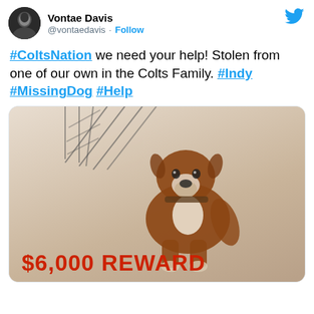Vontae Davis @vontaedavis · Follow
#ColtsNation we need your help! Stolen from one of our own in the Colts Family. #Indy #MissingDog #Help
[Figure (photo): Photo of a missing dog flyer with a brown and white Boxer dog sitting in front of a cage, with text reading $6,000 REWARD in red letters at the bottom.]